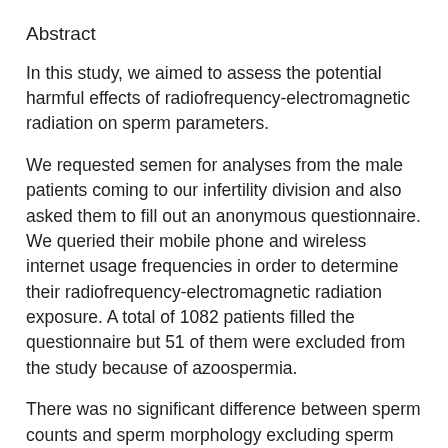Abstract
In this study, we aimed to assess the potential harmful effects of radiofrequency-electromagnetic radiation on sperm parameters.
We requested semen for analyses from the male patients coming to our infertility division and also asked them to fill out an anonymous questionnaire. We queried their mobile phone and wireless internet usage frequencies in order to determine their radiofrequency-electromagnetic radiation exposure. A total of 1082 patients filled the questionnaire but 51 of them were excluded from the study because of azoospermia.
There was no significant difference between sperm counts and sperm morphology excluding sperm motility, due to mobile phone usage period, (p = 0.074, p = 0.909, and p = 0.05, respectively). The total motile sperm count and the progressive motile sperm count decreased due to the increase of internet usage (p = 0.032 and p = 0.033,